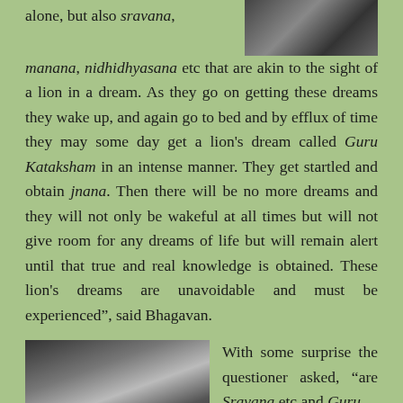alone, but also sravana, manana, nidhidhyasana etc that are akin to the sight of a lion in a dream. As they go on getting these dreams they wake up, and again go to bed and by efflux of time they may some day get a lion's dream called Guru Kataksham in an intense manner. They get startled and obtain jnana. Then there will be no more dreams and they will not only be wakeful at all times but will not give room for any dreams of life but will remain alert until that true and real knowledge is obtained. These lion's dreams are unavoidable and must be experienced”, said Bhagavan.
[Figure (photo): Black and white photograph at top right of the page]
[Figure (photo): Black and white photograph at bottom left showing a person standing near columns or doorway]
With some surprise the questioner asked, “are Sravana etc and Guru